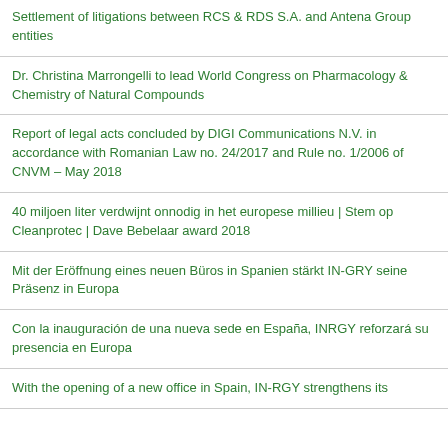Settlement of litigations between RCS & RDS S.A. and Antena Group entities
Dr. Christina Marrongelli to lead World Congress on Pharmacology & Chemistry of Natural Compounds
Report of legal acts concluded by DIGI Communications N.V. in accordance with Romanian Law no. 24/2017 and Rule no. 1/2006 of CNVM – May 2018
40 miljoen liter verdwijnt onnodig in het europese millieu | Stem op Cleanprotec | Dave Bebelaar award 2018
Mit der Eröffnung eines neuen Büros in Spanien stärkt IN-GRY seine Präsenz in Europa
Con la inauguración de una nueva sede en España, INRGY reforzará su presencia en Europa
With the opening of a new office in Spain, IN-RGY strengthens its